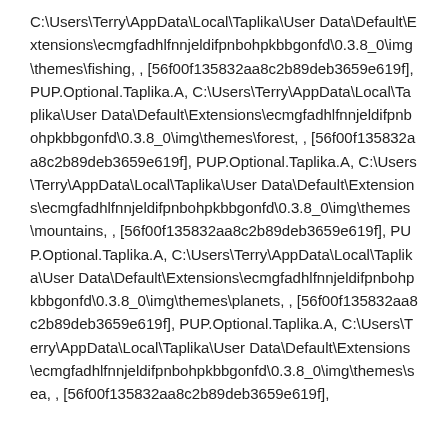C:\Users\Terry\AppData\Local\Taplika\User Data\Default\Extensions\ecmgfadhlfnnjeldifpnbohpkbbgonfd\0.3.8_0\img\themes\fishing, , [56f00f135832aa8c2b89deb3659e619f], PUP.Optional.Taplika.A, C:\Users\Terry\AppData\Local\Taplika\User Data\Default\Extensions\ecmgfadhlfnnjeldifpnbohpkbbgonfd\0.3.8_0\img\themes\forest, , [56f00f135832aa8c2b89deb3659e619f], PUP.Optional.Taplika.A, C:\Users\Terry\AppData\Local\Taplika\User Data\Default\Extensions\ecmgfadhlfnnjeldifpnbohpkbbgonfd\0.3.8_0\img\themes\mountains, , [56f00f135832aa8c2b89deb3659e619f], PUP.Optional.Taplika.A, C:\Users\Terry\AppData\Local\Taplika\User Data\Default\Extensions\ecmgfadhlfnnjeldifpnbohpkbbgonfd\0.3.8_0\img\themes\planets, , [56f00f135832aa8c2b89deb3659e619f], PUP.Optional.Taplika.A, C:\Users\Terry\AppData\Local\Taplika\User Data\Default\Extensions\ecmgfadhlfnnjeldifpnbohpkbbgonfd\0.3.8_0\img\themes\sea, , [56f00f135832aa8c2b89deb3659e619f],